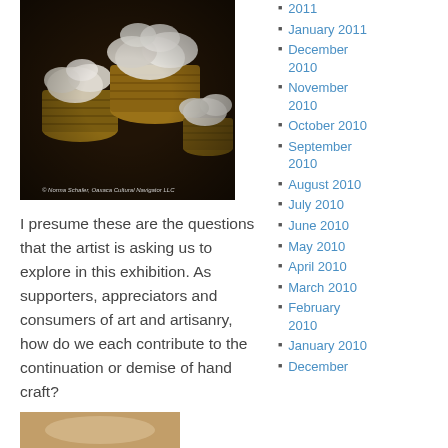[Figure (photo): Dark photograph of woven baskets filled with white fluffy cotton or wool fibers, arranged in a cluster. Watermark reads: © Norma Schafer, Oaxaca Cultural Navigator LLC]
© Norma Schafer, Oaxaca Cultural Navigator LLC
I presume these are the questions that the artist is asking us to explore in this exhibition. As supporters, appreciators and consumers of art and artisanry, how do we each contribute to the continuation or demise of hand craft?
[Figure (photo): Partial photograph visible at bottom of page, warm tones]
2011
January 2011
December 2010
November 2010
October 2010
September 2010
August 2010
July 2010
June 2010
May 2010
April 2010
March 2010
February 2010
January 2010
December